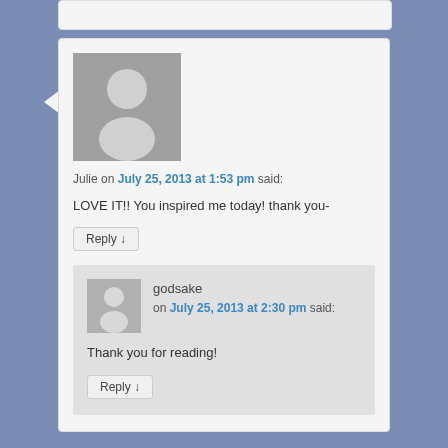[Figure (screenshot): Blog comment section showing two comments: one from Julie dated July 25, 2013 at 1:53 pm and a nested reply from godsake dated July 25, 2013 at 2:30 pm]
Julie on July 25, 2013 at 1:53 pm said:
LOVE IT!! You inspired me today! thank you-
Reply ↓
godsake on July 25, 2013 at 2:30 pm said:
Thank you for reading!
Reply ↓